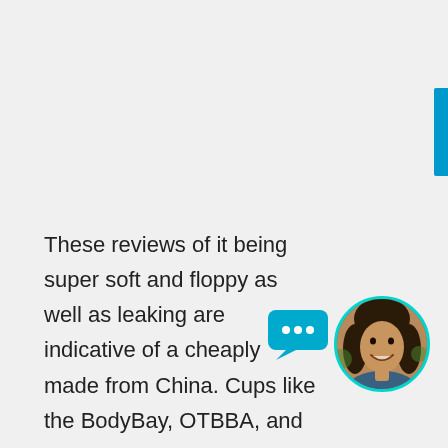[Figure (other): Blue vertical tab/bar on the right edge of the page]
[Figure (other): Teal/cyan chat bubble icon with three dots]
[Figure (photo): Circular avatar photo of a smiling woman with dark hair, outlined with teal/cyan border]
These reviews of it being super soft and floppy as well as leaking are indicative of a cheaply made from China. Cups like the BodyBay, OTBBA, and